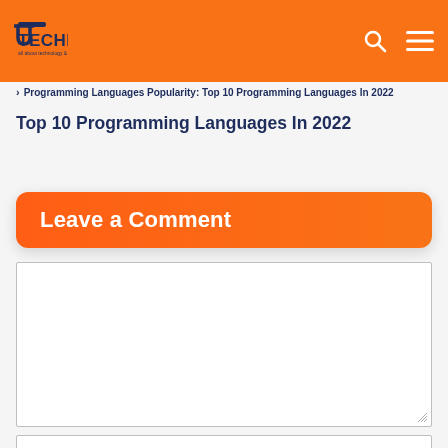TECHFORU — all about technology & blogging tutorials
> Programming Languages Popularity: Top 10 Programming Languages In 2022
Top 10 Programming Languages In 2022
Leave a Comment